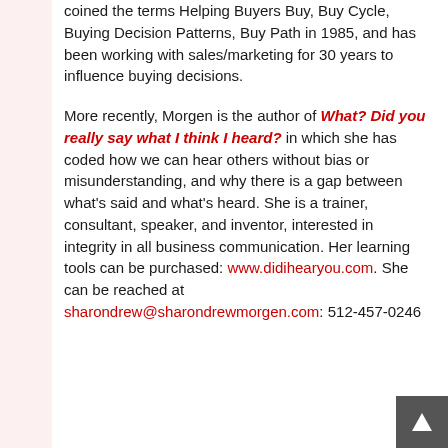coined the terms Helping Buyers Buy, Buy Cycle, Buying Decision Patterns, Buy Path in 1985, and has been working with sales/marketing for 30 years to influence buying decisions.
More recently, Morgen is the author of What? Did you really say what I think I heard? in which she has coded how we can hear others without bias or misunderstanding, and why there is a gap between what's said and what's heard. She is a trainer, consultant, speaker, and inventor, interested in integrity in all business communication. Her learning tools can be purchased: www.didihearyou.com. She can be reached at sharondrew@sharondrewmorgen.com: 512-457-0246